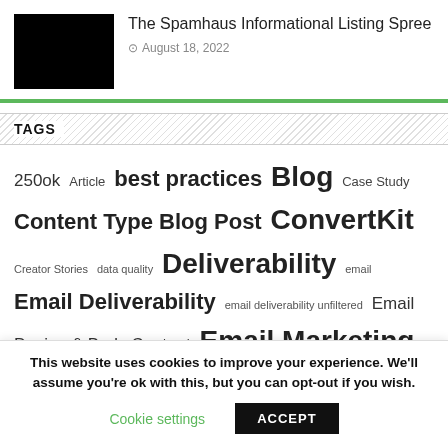[Figure (photo): Black thumbnail image for article]
The Spamhaus Informational Listing Spree
August 18, 2022
TAGS
250ok Article best practices Blog Case Study Content Type Blog Post ConvertKit Creator Stories data quality Deliverability email Email Deliverability email deliverability unfiltered Email Design & Body Content Email Marketing Email Marketing Rules Email Metrics & Program Success Email Strategy Email Verification & Marketing Epsilon
This website uses cookies to improve your experience. We'll assume you're ok with this, but you can opt-out if you wish.
Cookie settings   ACCEPT